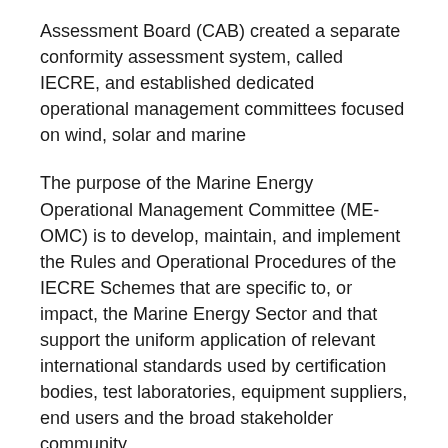Assessment Board (CAB) created a separate conformity assessment system, called IECRE, and established dedicated operational management committees focused on wind, solar and marine
The purpose of the Marine Energy Operational Management Committee (ME-OMC) is to develop, maintain, and implement the Rules and Operational Procedures of the IECRE Schemes that are specific to, or impact, the Marine Energy Sector and that support the uniform application of relevant international standards used by certification bodies, test laboratories, equipment suppliers, end users and the broad stakeholder community
Mr. Staby is Chairman of the ME-OMC Finance committee and is a Member of its Rules of Procedure committee